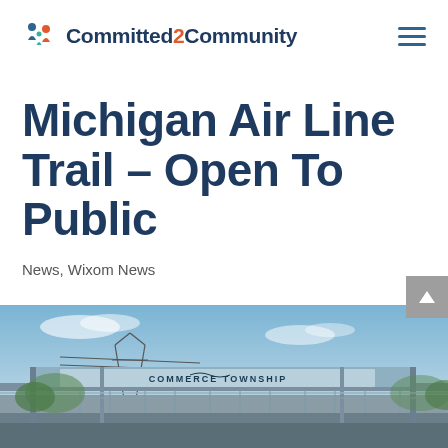Committed2Community
Michigan Air Line Trail – Open To Public
News, Wixom News
[Figure (photo): Photo of a pedestrian/trail bridge overpass with a 'Commerce Township' sign across the span, blue sky with light clouds in background, power line tower visible on the left side.]